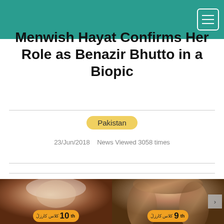Menwish Hayat Confirms Her Role as Benazir Bhutto in a Biopic
Pakistan  23/Jun/2018  News Viewed 3058 times
[Figure (photo): Side-by-side comparison photo: left side shows Benazir Bhutto in white headscarf, right side shows actress Menwish Hayat with long brown hair. Each photo has an orange badge overlay at the bottom showing Urdu text and '10th' and '9th' respectively.]